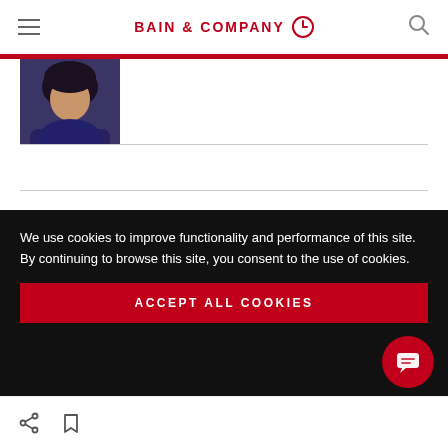BAIN & COMPANY
[Figure (photo): Partial profile photo of a person with dark hair against a dark background]
Diversity, Equity & Inclusion
Leadership & Talent
We use cookies to improve functionality and performance of this site. By continuing to browse this site, you consent to the use of cookies.
ACCEPT ALL COOKIES